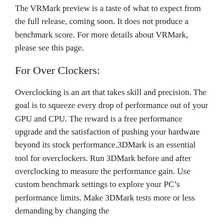The VRMark preview is a taste of what to expect from the full release, coming soon. It does not produce a benchmark score. For more details about VRMark, please see this page.
For Over Clockers:
Overclocking is an art that takes skill and precision. The goal is to squeeze every drop of performance out of your GPU and CPU. The reward is a free performance upgrade and the satisfaction of pushing your hardware beyond its stock performance.3DMark is an essential tool for overclockers. Run 3DMark before and after overclocking to measure the performance gain. Use custom benchmark settings to explore your PC’s performance limits. Make 3DMark tests more or less demanding by changing the